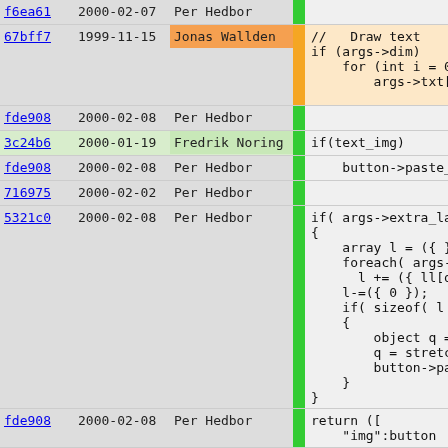| hash | date | author | bar | code |
| --- | --- | --- | --- | --- |
| f6ea61 | 2000-02-07 | Per Hedbor | green |  |
| 67bff7 | 1999-11-15 | Jonas Wallden | orange | //  Draw text
if (args->dim)
    for (int i = 0; i <
        args->txt[i] = (a |
| fde908 | 2000-02-08 | Per Hedbor | green |  |
| 3c24b6 | 2000-01-19 | Fredrik Noring | green | if(text_img) |
| fde908 | 2000-02-08 | Per Hedbor | green | button->paste_alpha |
| 716975 | 2000-02-02 | Per Hedbor | green |  |
| 5321c0 | 2000-02-08 | Per Hedbor | green | if( args->extra_layer
{
    array l = ({ });
    foreach( args->extra
        l += ({ ll[q] });
    l-=({ 0 });
    if( sizeof( l ) )
    {
        object q = Image.
        q = stretch_layer
        button->paste_mas
    }
} |
| fde908 | 2000-02-08 | Per Hedbor | green | return ([
    "img":button |